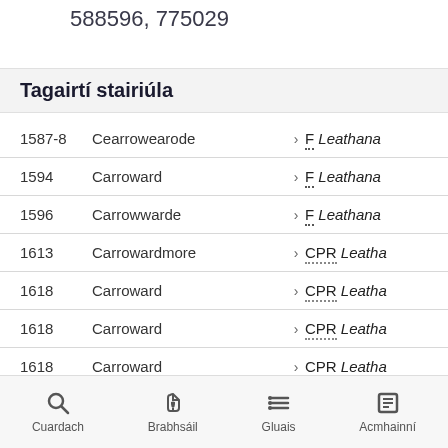588596, 775029
Tagairtí stairiúla
| Year | Name |  | Reference |
| --- | --- | --- | --- |
| 1587-8 | Cearrowearode | > | F Leathana |
| 1594 | Carroward | > | F Leathana |
| 1596 | Carrowwarde | > | F Leathana |
| 1613 | Carrowardmore | > | CPR Leatha |
| 1618 | Carroward | > | CPR Leatha |
| 1618 | Carroward | > | CPR Leatha |
| 1618 | Carroward | > | CPR Leatha |
| 1621 | Carroward | > | CPR Leatha |
Cuardach  Brabhsáil  Gluais  Acmhainní